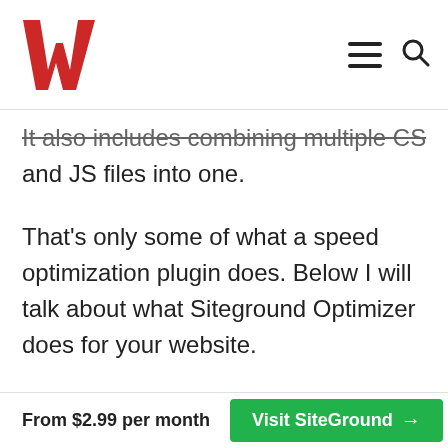W (logo) | hamburger menu | search icon
It also includes combining multiple CSS and JS files into one.
That’s only some of what a speed optimization plugin does. Below I will talk about what Siteground Optimizer does for your website.
If you are considering Siteground and are still on the fence, read my detailed
From $2.99 per month   Visit SiteGround →